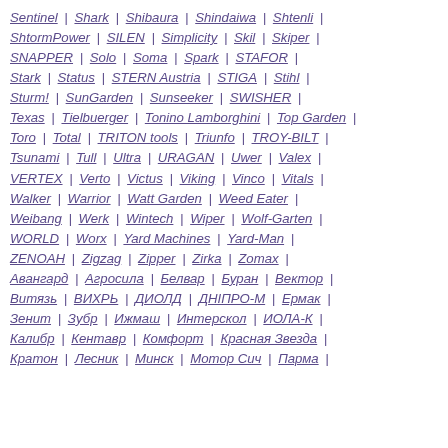Sentinel | Shark | Shibaura | Shindaiwa | Shtenli |
ShtormPower | SILEN | Simplicity | Skil | Skiper |
SNAPPER | Solo | Soma | Spark | STAFOR |
Stark | Status | STERN Austria | STIGA | Stihl |
Sturm! | SunGarden | Sunseeker | SWISHER |
Texas | Tielbuerger | Tonino Lamborghini | Top Garden |
Toro | Total | TRITON tools | Triunfo | TROY-BILT |
Tsunami | Tull | Ultra | URAGAN | Uwer | Valex |
VERTEX | Verto | Victus | Viking | Vinco | Vitals |
Walker | Warrior | Watt Garden | Weed Eater |
Weibang | Werk | Wintech | Wiper | Wolf-Garten |
WORLD | Worx | Yard Machines | Yard-Man |
ZENOAH | Zigzag | Zipper | Zirka | Zomax |
Авангард | Агросила | Белвар | Буран | Вектор |
Витязь | ВИХРЬ | ДИОЛД | ДНІПРО-М | Ермак |
Зенит | Зубр | Ижмаш | Интерскол | ИОЛА-К |
Калибр | Кентавр | Комфорт | Красная Звезда |
Кратон | Лесник | Минск | Мотор Сич | Парма |